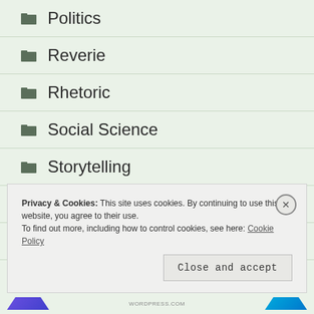Politics
Reverie
Rhetoric
Social Science
Storytelling
Uncategorized
Wool-Gathering
Privacy & Cookies: This site uses cookies. By continuing to use this website, you agree to their use. To find out more, including how to control cookies, see here: Cookie Policy
Close and accept